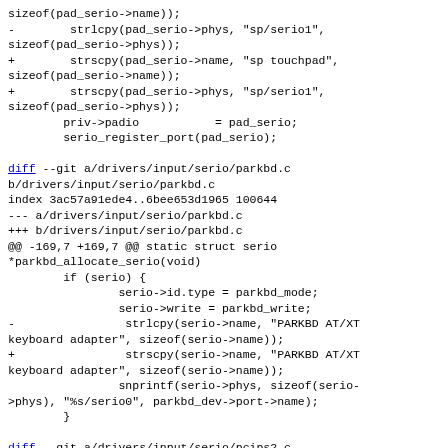sizeof(pad_serio->name));
-        strlcpy(pad_serio->phys, "sp/serio1",
sizeof(pad_serio->phys));
+        strscpy(pad_serio->name, "sp touchpad",
sizeof(pad_serio->name));
+        strscpy(pad_serio->phys, "sp/serio1",
sizeof(pad_serio->phys));
        priv->padio           = pad_serio;
        serio_register_port(pad_serio);

diff --git a/drivers/input/serio/parkbd.c
b/drivers/input/serio/parkbd.c
index 3ac57a91ede4..6bee653d1965 100644
--- a/drivers/input/serio/parkbd.c
+++ b/drivers/input/serio/parkbd.c
@@ -169,7 +169,7 @@ static struct serio
*parkbd_allocate_serio(void)
        if (serio) {
                serio->id.type = parkbd_mode;
                serio->write = parkbd_write;
-                strlcpy(serio->name, "PARKBD AT/XT
keyboard adapter", sizeof(serio->name));
+                strscpy(serio->name, "PARKBD AT/XT
keyboard adapter", sizeof(serio->name));
                snprintf(serio->phys, sizeof(serio-
>phys), "%s/serio0", parkbd_dev->port->name);
        }

diff --git a/drivers/input/serio/pcips2.c
b/drivers/input/serio/pcips2.c
index bcdf75de0c2a..95979759f2e2 100644